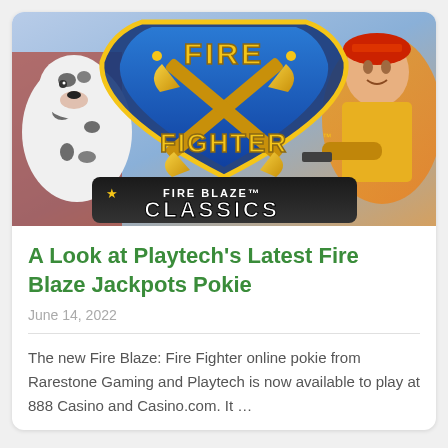[Figure (illustration): Fire Fighter slot game promotional image with a blue shield logo reading FIRE FIGHTER, showing crossed golden axes, a Dalmatian dog on the left, a firefighter character on the right, and Fire Blaze Classics branding at the bottom]
A Look at Playtech’s Latest Fire Blaze Jackpots Pokie
June 14, 2022
The new Fire Blaze: Fire Fighter online pokie from Rarestone Gaming and Playtech is now available to play at 888 Casino and Casino.com. It ...